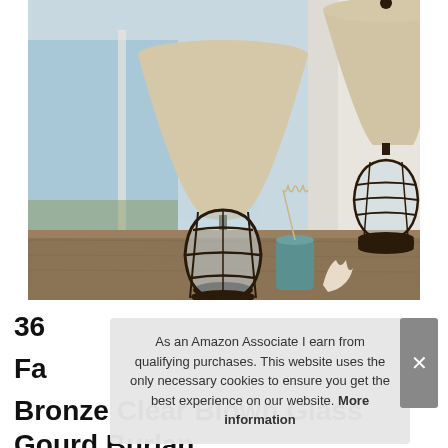[Figure (photo): Two bronze and clear blown glass gourd table lamps with burlap shades on a wooden console table. A teal ceramic vase with dried pampas grass and white coral decorations sit between them. Ocean view through window in background.]
36
Fa
Bronze Clear Blown Glass Gourd Burlan
As an Amazon Associate I earn from qualifying purchases. This website uses the only necessary cookies to ensure you get the best experience on our website. More information